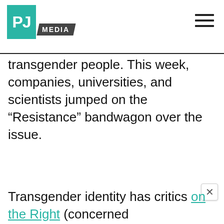PJ MEDIA
transgender people. This week, companies, universities, and scientists jumped on the “Resistance” bandwagon over the issue.
Transgender identity has critics on the Right (concerned